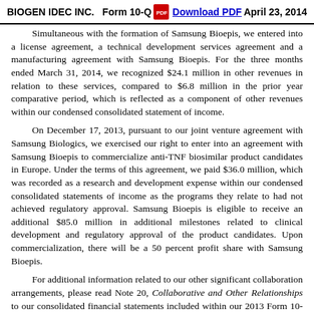BIOGEN IDEC INC.   Form 10-Q   Download PDF   April 23, 2014
Simultaneous with the formation of Samsung Bioepis, we entered into a license agreement, a technical development services agreement and a manufacturing agreement with Samsung Bioepis. For the three months ended March 31, 2014, we recognized $24.1 million in other revenues in relation to these services, compared to $6.8 million in the prior year comparative period, which is reflected as a component of other revenues within our condensed consolidated statement of income.
On December 17, 2013, pursuant to our joint venture agreement with Samsung Biologics, we exercised our right to enter into an agreement with Samsung Bioepis to commercialize anti-TNF biosimilar product candidates in Europe. Under the terms of this agreement, we paid $36.0 million, which was recorded as a research and development expense within our condensed consolidated statements of income as the programs they relate to had not achieved regulatory approval. Samsung Bioepis is eligible to receive an additional $85.0 million in additional milestones related to clinical development and regulatory approval of the product candidates. Upon commercialization, there will be a 50 percent profit share with Samsung Bioepis.
For additional information related to our other significant collaboration arrangements, please read Note 20, Collaborative and Other Relationships to our consolidated financial statements included within our 2013 Form 10-K.
18.      Litigation
'755 Patent Litigation